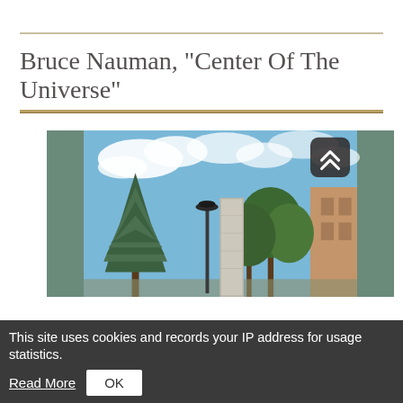Bruce Nauman, "Center Of The Universe"
[Figure (photo): Outdoor photograph showing trees (a large blue-green spruce on the left, green deciduous trees on the right), a concrete pillar/obelisk sculpture in the center, a decorative street lamp, a brick building on the right edge, and a partly cloudy blue sky. A scroll-up button (dark rounded rectangle with double chevron) is overlaid in the upper right corner of the photo.]
This site uses cookies and records your IP address for usage statistics.
Read More
OK